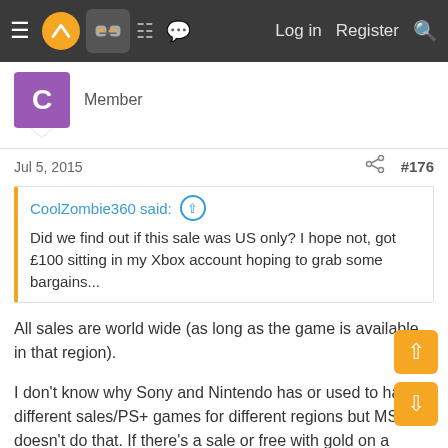≡ [logo] [controller] [grid] [chat] Log in Register [search]
Member
Jul 5, 2015  #176
CoolZombie360 said: ↑
Did we find out if this sale was US only? I hope not, got £100 sitting in my Xbox account hoping to grab some bargains...
All sales are world wide (as long as the game is available in that region).
I don't know why Sony and Nintendo has or used to have different sales/PS+ games for different regions but MS doesn't do that. If there's a sale or free with gold on a game, it's always world wide as long as the game is available in that region.